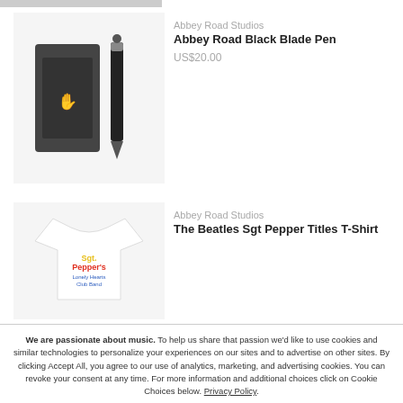[Figure (photo): Abbey Road Black Blade Pen product photo showing pen and case on white background]
Abbey Road Studios
Abbey Road Black Blade Pen
US$20.00
[Figure (photo): The Beatles Sgt Pepper Titles T-Shirt product photo showing white t-shirt with Sgt. Pepper's logo]
Abbey Road Studios
The Beatles Sgt Pepper Titles T-Shirt
We are passionate about music. To help us share that passion we'd like to use cookies and similar technologies to personalize your experiences on our sites and to advertise on other sites. By clicking Accept All, you agree to our use of analytics, marketing, and advertising cookies. You can revoke your consent at any time. For more information and additional choices click on Cookie Choices below. Privacy Policy.
Accept All
Cookie Choices
Decline All